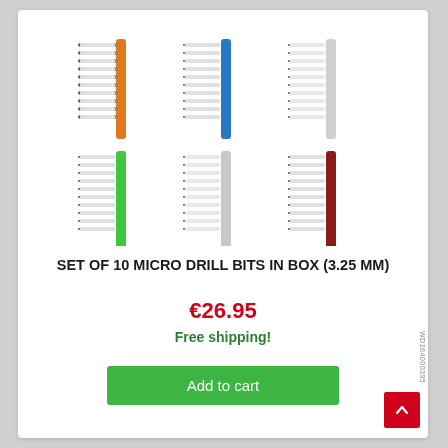[Figure (photo): Six sets of micro drill bits arranged in a 3x2 grid. Each set contains 10 drill bits fanned out from a colored central handle: orange, blue, white/gray (top row), green, white/gray, dark red/maroon (bottom row).]
SET OF 10 MICRO DRILL BITS IN BOX (3.25 MM)
€26.95
Free shipping!
Add to cart